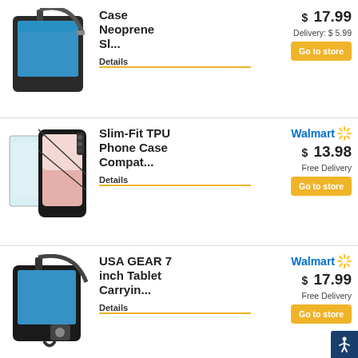[Figure (photo): Black neoprene tablet shoulder bag/case with tablet inside showing blue screen]
Case Neoprene Sl...
$ 17.99
Delivery: $ 5.99
Go to store
Details
[Figure (photo): Black slim-fit TPU phone case and screen protector for Samsung Galaxy A12]
Slim-Fit TPU Phone Case Compat...
Walmart
$ 13.98
Free Delivery
Go to store
Details
[Figure (photo): Black USA GEAR 7 inch tablet carrying bag with shoulder strap and tablet inside]
USA GEAR 7 inch Tablet Carryin...
Walmart
$ 17.99
Free Delivery
Go to store
Details